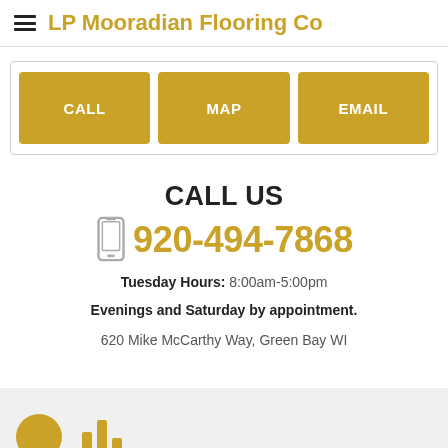LP Mooradian Flooring Co
[Figure (infographic): Three golden action buttons labeled CALL, MAP, EMAIL inside a bordered container]
CALL US
920-494-7868
Tuesday Hours: 8:00am-5:00pm
Evenings and Saturday by appointment.
620 Mike McCarthy Way, Green Bay WI